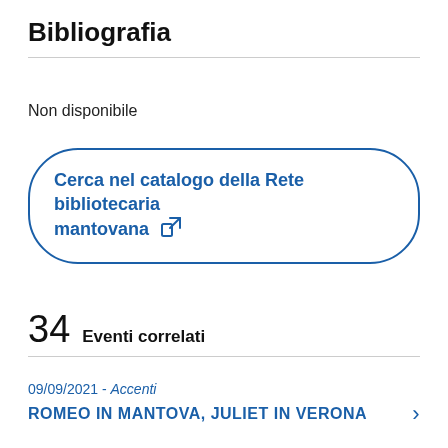Bibliografia
Non disponibile
Cerca nel catalogo della Rete bibliotecaria mantovana ↗
34 Eventi correlati
09/09/2021 - Accenti
ROMEO IN MANTOVA, JULIET IN VERONA